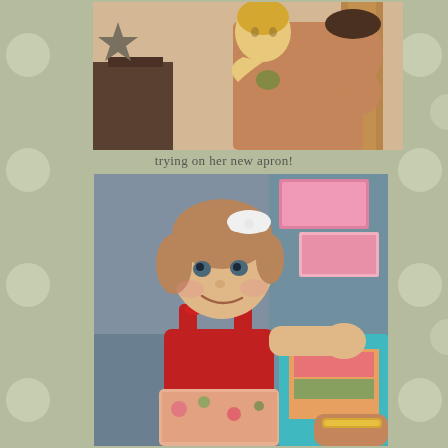[Figure (photo): A young blonde toddler child clinging to the back of a shirtless adult man with tattoos, standing near wooden furniture in an indoor setting.]
trying on her new apron!
[Figure (photo): A toddler girl with a white bow in her hair, wearing a red and floral dress, smiling and reaching out. An adult's arm with a gold bracelet is visible in the background near colorful storage bins.]